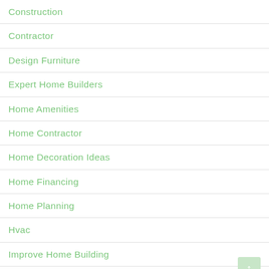Construction
Contractor
Design Furniture
Expert Home Builders
Home Amenities
Home Contractor
Home Decoration Ideas
Home Financing
Home Planning
Hvac
Improve Home Building
Kitchen Interior
Kitchen Renovation